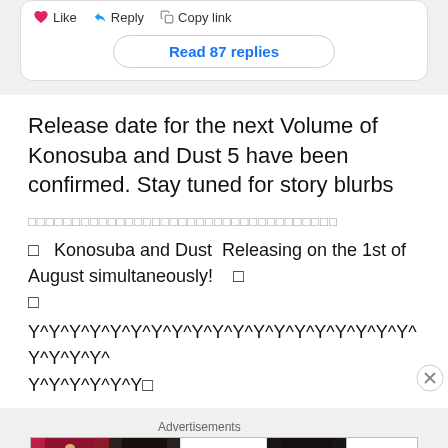Like   Reply   Copy link
Read 87 replies
Release date for the next Volume of Konosuba and Dust 5 have been confirmed. Stay tuned for story blurbs
□□□□□□□□□□□□□□□□□□□□□□□□□□□□□□□□□□□
□   Konosuba and Dust  Releasing on the 1st of August simultaneously!   □
□
Y^Y^Y^Y^Y^Y^Y^Y^Y^Y^Y^Y^Y^Y^Y^Y^Y^Y^Y^Y^Y^Y^Y^
Y^Y^Y^Y^Y^Y□
Advertisements
[Figure (photo): Advertisement banner for ULTA beauty with makeup images (lips with lipstick, makeup brush, eye with makeup, ULTA logo, eye with makeup) and SHOP NOW call to action]